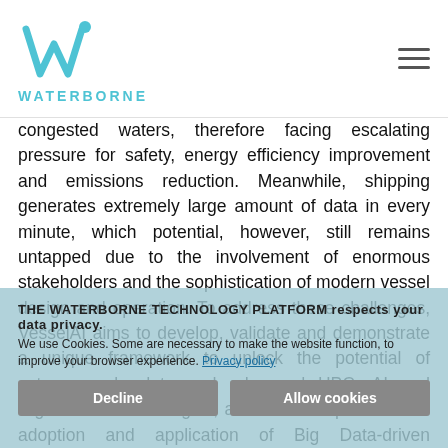WATERBORNE
congested waters, therefore facing escalating pressure for safety, energy efficiency improvement and emissions reduction. Meanwhile, shipping generates extremely large amount of data in every minute, which potential, however, still remains untapped due to the involvement of enormous stakeholders and the sophistication of modern vessel design and operation. To address these challenges, VesselAI aims to develop, validate and demonstrate a unique framework to unlock the potential of extreme-scale data and advanced HPC, AI and Digital Twin technologies, and hence to promote the adoption and application of Big Data-driven innovations and solutions in maritime industry and beyond.
THE WATERBORNE TECHNOLOGY PLATFORM respects your data privacy. We use Cookies. Some are necessary to make the website function, to improve your browser experience. Privacy policy
Decline
Allow cookies